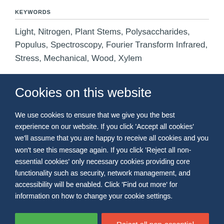KEYWORDS
Light, Nitrogen, Plant Stems, Polysaccharides, Populus, Spectroscopy, Fourier Transform Infrared, Stress, Mechanical, Wood, Xylem
Cookies on this website
We use cookies to ensure that we give you the best experience on our website. If you click 'Accept all cookies' we'll assume that you are happy to receive all cookies and you won't see this message again. If you click 'Reject all non-essential cookies' only necessary cookies providing core functionality such as security, network management, and accessibility will be enabled. Click 'Find out more' for information on how to change your cookie settings.
Accept all cookies | Reject all non-essential cookies